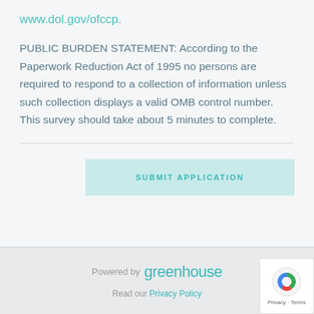www.dol.gov/ofccp.
PUBLIC BURDEN STATEMENT: According to the Paperwork Reduction Act of 1995 no persons are required to respond to a collection of information unless such collection displays a valid OMB control number. This survey should take about 5 minutes to complete.
SUBMIT APPLICATION
Powered by greenhouse
Read our Privacy Policy